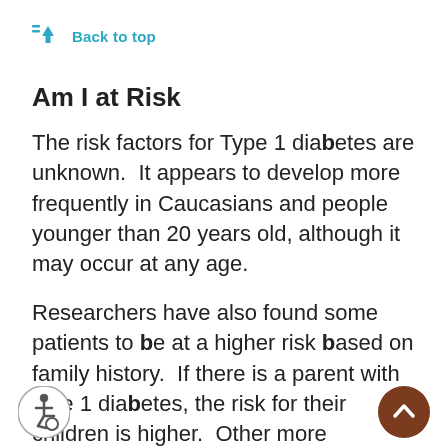↑ Back to top
Am I at Risk
The risk factors for Type 1 diabetes are unknown.  It appears to develop more frequently in Caucasians and people younger than 20 years old, although it may occur at any age.
Researchers have also found some patients to be at a higher risk based on family history.  If there is a parent with type 1 diabetes, the risk for their children is higher.  Other more complicated causes including changes in specific genes and the